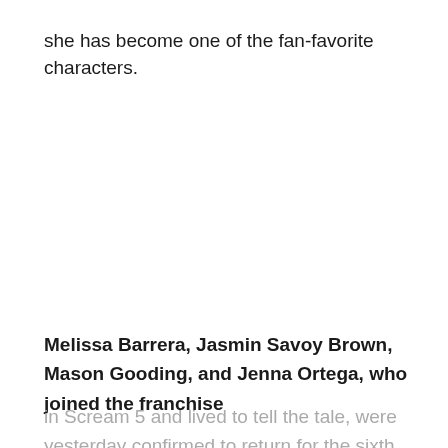she has become one of the fan-favorite characters.
Melissa Barrera, Jasmin Savoy Brown, Mason Gooding, and Jenna Ortega, who joined the franchise in Scream 5 and lived to tell the tale, were yesterday confirmed to return for the sixth movie, and it is